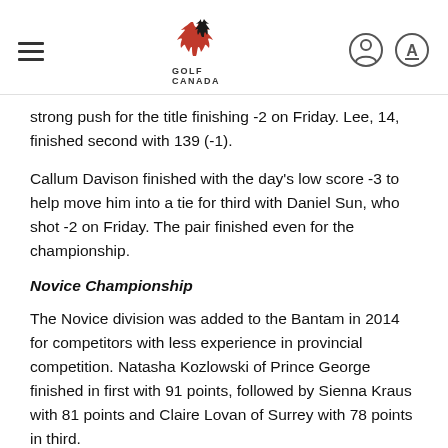Golf Canada header with logo and navigation icons
strong push for the title finishing -2 on Friday. Lee, 14, finished second with 139 (-1).
Callum Davison finished with the day’s low score -3 to help move him into a tie for third with Daniel Sun, who shot -2 on Friday. The pair finished even for the championship.
Novice Championship
The Novice division was added to the Bantam in 2014 for competitors with less experience in provincial competition. Natasha Kozlowski of Prince George finished in first with 91 points, followed by Sienna Kraus with 81 points and Claire Lovan of Surrey with 78 points in third.